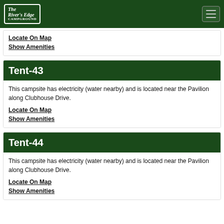The River's Edge
Locate On Map
Show Amenities
Tent-43
This campsite has electricity (water nearby) and is located near the Pavilion along Clubhouse Drive.
Locate On Map
Show Amenities
Tent-44
This campsite has electricity (water nearby) and is located near the Pavilion along Clubhouse Drive.
Locate On Map
Show Amenities